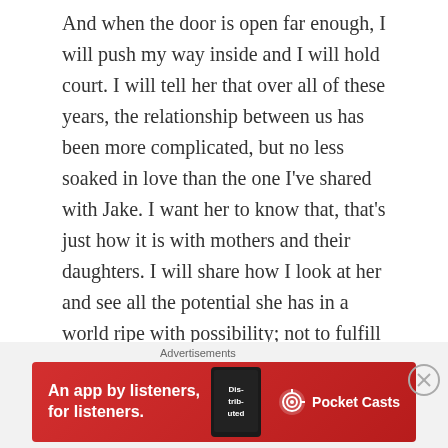And when the door is open far enough, I will push my way inside and I will hold court. I will tell her that over all of these years, the relationship between us has been more complicated, but no less soaked in love than the one I've shared with Jake. I want her to know that, that's just how it is with mothers and their daughters. I will share how I look at her and see all the potential she has in a world ripe with possibility; not to fulfill my dreams, but with opportunity to fulfill hers. I will tell her how I see those possibilities for Jake as well, but with her the fear is greater because, as a woman, I know the very specific obstacles she will face. I will tell her how I worry that I will fail her by not delivering all of the knowledge I have in a way that she can accept it. I will tell her how,
Advertisements
[Figure (other): Red advertisement banner for Pocket Casts app showing 'An app by listeners, for listeners.' text on red background with a phone displaying 'Distributed' text and the Pocket Casts logo]